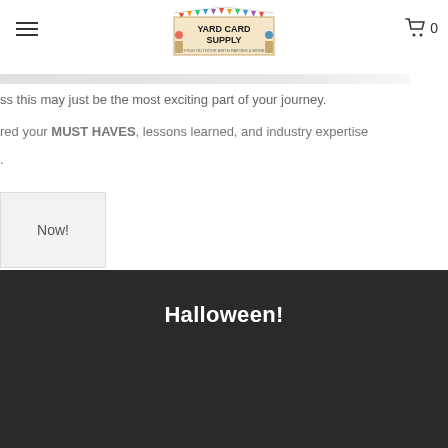Yard Card Supply
ss this may just be the most exciting part of your journey.
red your MUST HAVES, lessons learned, and industry expertise
.
Now!
Halloween!